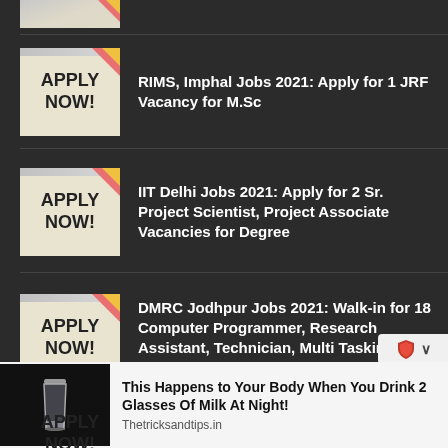[Figure (illustration): Partial cropped 'Apply Now' sticky note image at top of page]
RIMS, Imphal Jobs 2021: Apply for 1 JRF Vacancy for M.Sc
IIT Delhi Jobs 2021: Apply for 2 Sr. Project Scientist, Project Associate Vacancies for Degree
DMRC Jodhpur Jobs 2021: Walk-in for 18 Computer Programmer, Research Assistant, Technician, Multi Tasking Worker
CURAJ Jobs 2021: Apply for 2 Assistant Professor Vacancies
[Figure (photo): Glass of milk on black background]
This Happens to Your Body When You Drink 2 Glasses Of Milk At Night!
Thetricksandtips.in